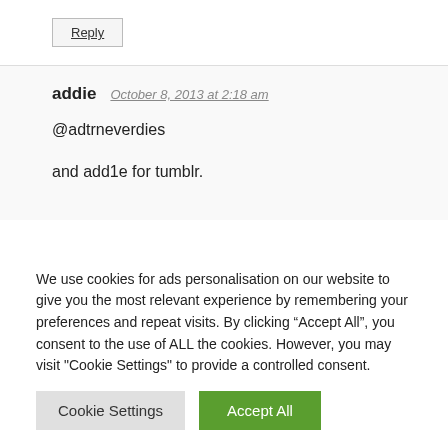Reply
addie   October 8, 2013 at 2:18 am
@adtrneverdies
and add1e for tumblr.
We use cookies for ads personalisation on our website to give you the most relevant experience by remembering your preferences and repeat visits. By clicking “Accept All”, you consent to the use of ALL the cookies. However, you may visit "Cookie Settings" to provide a controlled consent.
Cookie Settings
Accept All